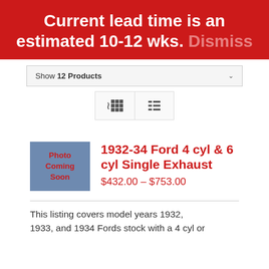Current lead time is an estimated 10-12 wks. Dismiss
Show 12 Products
[Figure (other): Grid and list view toggle buttons]
[Figure (photo): Photo Coming Soon placeholder image]
1932-34 Ford 4 cyl & 6 cyl Single Exhaust
$432.00 – $753.00
This listing covers model years 1932, 1933, and 1934 Fords stock with a 4 cyl or